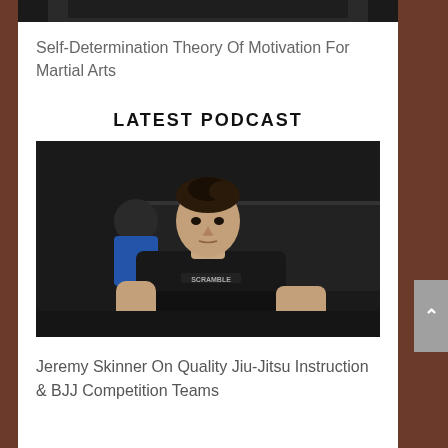[Figure (photo): Partial top strip of a dark image, cropped at top of page]
Self-Determination Theory Of Motivation For Martial Arts
LATEST PODCAST
[Figure (photo): Photo of Jeremy Skinner, a man with dark hair wearing a black Scramble branded t-shirt, in a martial arts gym setting with a dark background. Another person in a blue top is visible behind him.]
Jeremy Skinner On Quality Jiu-Jitsu Instruction & BJJ Competition Teams